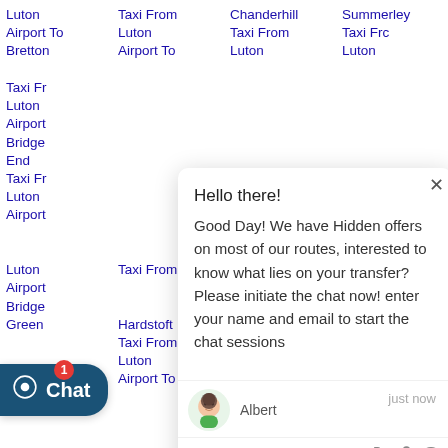Luton Airport To Bretton Taxi From Luton Airport To
Taxi From Luton Airport To
Chanderhill Taxi From Luton
Summerley Taxi From Luton
Taxi From Luton Airport Bridge End Taxi From Luton Airport
Luton Airport Bridge Green
Taxi From Luton Airport To
Airport To on-the-
Hello there!

Good Day! We have Hidden offers on most of our routes, interested to know what lies on your transfer? Please initiate the chat now! enter your name and email to start the chat sessions
Albert   just now
Type here.....
Hardstoft Taxi From Luton Airport To
Taxi From Luton Airport To Nether-
Luton Airport To Sutton-Scarsdale
[Figure (other): Chat button with notification badge showing '1', teal/dark blue background with chat bubble icon and 'Chat' label]